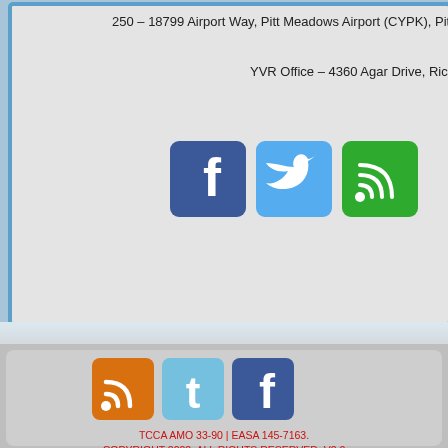250 – 18799 Airport Way, Pitt Meadows Airport (CYPK), Pitt Me
YVR Office – 4360 Agar Drive, Richmond BC V7
[Figure (illustration): Three social media icons: Facebook (blue), Twitter (blue), and a blog/RSS icon (green) in rounded square buttons]
[Figure (illustration): Three social media icons: RSS feed (orange), Twitter (light blue), and Facebook (blue) in rounded square buttons]
TCCA AMO 33-90 | EASA 145-7163.
COPYRIGHT 2022. ALL RIGHTS RESERVED. V2.0
Home
Products
Services
Installations
About Us
CYPK
Newsletters